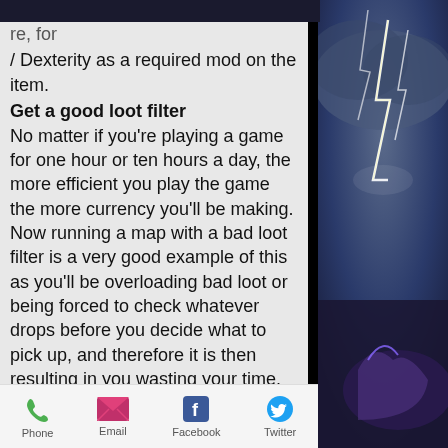re, for example ones that include Strength / Dexterity as a required mod on the item.
Get a good loot filter
No matter if you're playing a game for one hour or ten hours a day, the more efficient you play the game the more currency you'll be making. Now running a map with a bad loot filter is a very good example of this as you'll be overloading bad loot or being forced to check whatever drops before you decide what to pick up, and therefore it is then resulting in you wasting your time. So fixing your loot filter is key to being mapping efficiently or playing the game efficiently as is and the easiest way to solve this is get a better loot filter. You can do that with an amazing tool called filterblade.xyz. check out the website in
[Figure (screenshot): Mobile app bottom navigation bar with Phone, Email, Facebook, Twitter icons]
[Figure (photo): Lightning storm photo on right side of screen]